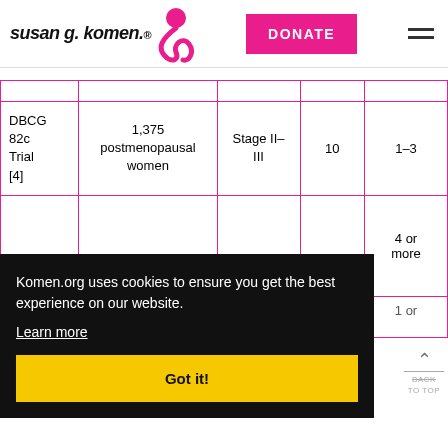[Figure (logo): Susan G. Komen logo with pink ribbon]
| Trial | Participants | Stage | Col4 | Col5 |
| --- | --- | --- | --- | --- |
| DBCG 82c Trial [4] | 1,375 postmenopausal women | Stage II–III | 10 | 1–3 |
|  |  |  |  | 4 or more |
| [e] | 3,131 | Stage II–III | 20 | 1 or |
Komen.org uses cookies to ensure you get the best experience on our website.
Learn more
Got it!